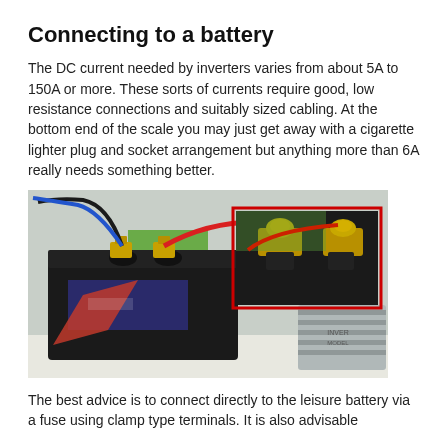Connecting to a battery
The DC current needed by inverters varies from about 5A to 150A or more. These sorts of currents require good, low resistance connections and suitably sized cabling. At the bottom end of the scale you may just get away with a cigarette lighter plug and socket arrangement but anything more than 6A really needs something better.
[Figure (photo): A black car battery connected with red and black cables to an inverter device on a white surface. An inset in the top-right corner (outlined in red) shows a close-up of the battery terminal connection with gold-coloured clamp fittings.]
The best advice is to connect directly to the leisure battery via a fuse using clamp type terminals. It is also advisable